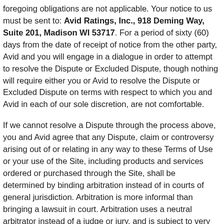foregoing obligations are not applicable. Your notice to us must be sent to: Avid Ratings, Inc., 918 Deming Way, Suite 201, Madison WI 53717. For a period of sixty (60) days from the date of receipt of notice from the other party, Avid and you will engage in a dialogue in order to attempt to resolve the Dispute or Excluded Dispute, though nothing will require either you or Avid to resolve the Dispute or Excluded Dispute on terms with respect to which you and Avid in each of our sole discretion, are not comfortable.
If we cannot resolve a Dispute through the process above, you and Avid agree that any Dispute, claim or controversy arising out of or relating in any way to these Terms of Use or your use of the Site, including products and services ordered or purchased through the Site, shall be determined by binding arbitration instead of in courts of general jurisdiction. Arbitration is more informal than bringing a lawsuit in court. Arbitration uses a neutral arbitrator instead of a judge or jury, and is subject to very limited review by courts. Arbitration allows for more limited